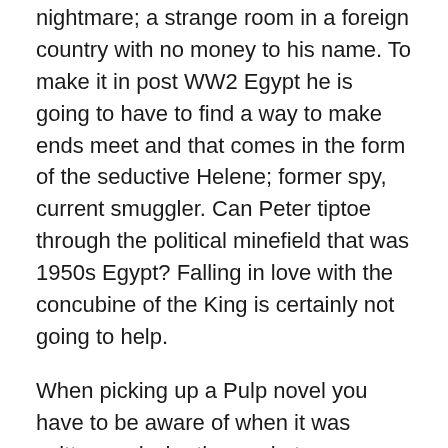nightmare; a strange room in a foreign country with no money to his name. To make it in post WW2 Egypt he is going to have to find a way to make ends meet and that comes in the form of the seductive Helene; former spy, current smuggler. Can Peter tiptoe through the political minefield that was 1950s Egypt? Falling in love with the concubine of the King is certainly not going to help.
When picking up a Pulp novel you have to be aware of when it was written and who the market was. Thieves Fall Out is a novel written by Gore Vidal which he wrote under a pseudonym – this was a quick money fix that he was not planning to be associated with. Saying this, the writing in Thieves is of a higher standard than many outings in the genre, but the dubious 1950s political incorrectness is more front and centre.
As an action thriller, this is a novel that reads a little like a